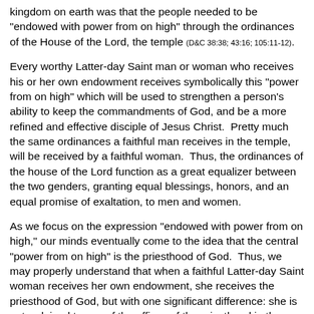kingdom on earth was that the people needed to be "endowed with power from on high" through the ordinances of the House of the Lord, the temple (D&C 38:38; 43:16; 105:11-12).
Every worthy Latter-day Saint man or woman who receives his or her own endowment receives symbolically this "power from on high" which will be used to strengthen a person's ability to keep the commandments of God, and be a more refined and effective disciple of Jesus Christ.  Pretty much the same ordinances a faithful man receives in the temple, will be received by a faithful woman.  Thus, the ordinances of the house of the Lord function as a great equalizer between the two genders, granting equal blessings, honors, and an equal promise of exaltation, to men and women.
As we focus on the expression "endowed with power from on high," our minds eventually come to the idea that the central "power from on high" is the priesthood of God.  Thus, we may properly understand that when a faithful Latter-day Saint woman receives her own endowment, she receives the priesthood of God, but with one significant difference: she is not ordained to any of the offices of the priesthood in the Church of Jesus Christ of Latter-day Saints.